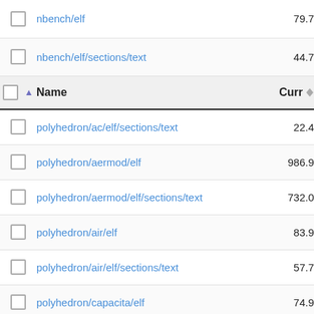|  | Name | Curr |
| --- | --- | --- |
| ☐ | nbench/elf | 79.7 |
| ☐ | nbench/elf/sections/text | 44.7 |
| ☐ | Name | Curr |
| ☐ | polyhedron/ac/elf/sections/text | 22.4 |
| ☐ | polyhedron/aermod/elf | 986.9 |
| ☐ | polyhedron/aermod/elf/sections/text | 732.0 |
| ☐ | polyhedron/air/elf | 83.9 |
| ☐ | polyhedron/air/elf/sections/text | 57.7 |
| ☐ | polyhedron/capacita/elf | 74.9 |
| ☐ | polyhedron/capacita/elf/sections/text | 53.6 |
| ☐ | polyhedron/channel2/elf | 29.4 |
| ☐ | polyhedron/channel2/elf/sections/text | 10.5 |